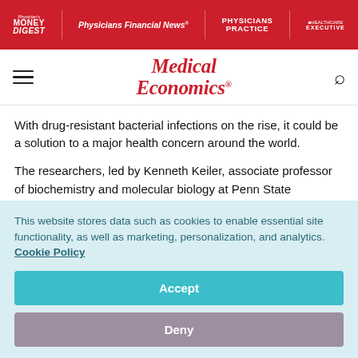Physician's Money Digest | Physicians Financial News | Physicians Practice | Healthcare Executive
[Figure (logo): Medical Economics brand logo with red italic text]
With drug-resistant bacterial infections on the rise, it could be a solution to a major health concern around the world.
The researchers, led by Kenneth Keiler, associate professor of biochemistry and molecular biology at Penn State University, have found that an early step in the protein synthesis process unique to bacteria is a previously unrecognized drug target.
This website stores data such as cookies to enable essential site functionality, as well as marketing, personalization, and analytics. Cookie Policy
Accept
Deny